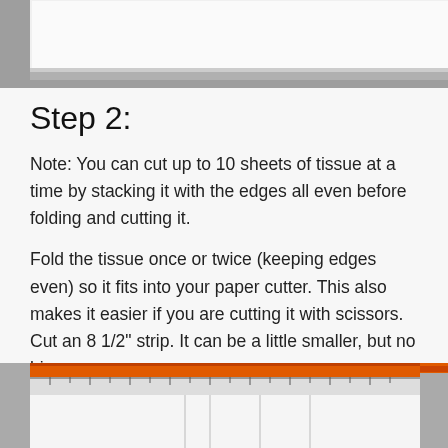[Figure (photo): Partial view of white paper on a gray surface, top of page photo]
Step 2:
Note: You can cut up to 10 sheets of tissue at a time by stacking it with the edges all even before folding and cutting it.
Fold the tissue once or twice (keeping edges even) so it fits into your paper cutter. This also makes it easier if you are cutting it with scissors. Cut an 8 1/2" strip. It can be a little smaller, but no bigger.
[Figure (photo): Photo of a paper cutter with orange handle bar and a ruler, with white tissue paper being cut]